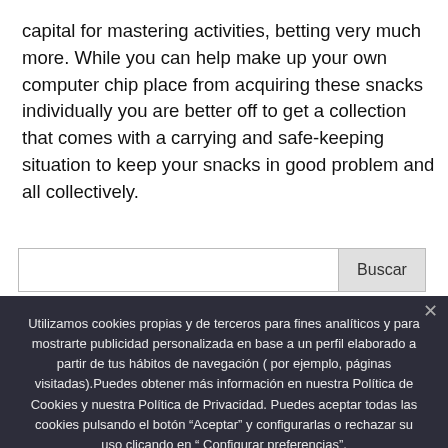capital for mastering activities, betting very much more. While you can help make up your own computer chip place from acquiring these snacks individually you are better off to get a collection that comes with a carrying and safe-keeping situation to keep your snacks in good problem and all collectively.
Buscar
Utilizamos cookies propias y de terceros para fines analíticos y para mostrarte publicidad personalizada en base a un perfil elaborado a partir de tus hábitos de navegación ( por ejemplo, páginas visitadas).Puedes obtener más información en nuestra Política de Cookies y nuestra Política de Privacidad. Puedes aceptar todas las cookies pulsando el botón “Aceptar” y configurarlas o rechazar su uso clicando en “ Configurar preferencias”.
Aceptar | No | Política de privacidad